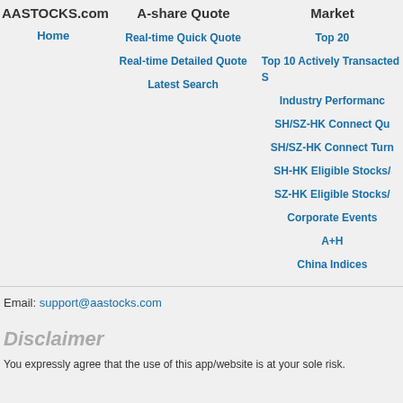AASTOCKS.com  A-share Quote  Market
Home
Real-time Quick Quote
Top 20
Real-time Detailed Quote
Top 10 Actively Transacted S
Latest Search
Industry Performance
SH/SZ-HK Connect Qu
SH/SZ-HK Connect Turn
SH-HK Eligible Stocks/
SZ-HK Eligible Stocks/
Corporate Events
A+H
China Indices
Email: support@aastocks.com
Disclaimer
You expressly agree that the use of this app/website is at your sole risk.